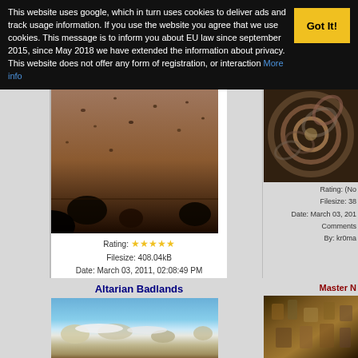This website uses google, which in turn uses cookies to deliver ads and track usage information. If you use the website you agree that we use cookies. This message is to inform you about EU law since september 2015, since May 2018 we have extended the information about privacy. This website does not offer any form of registration, or interaction More info
[Figure (photo): Mars-like terrain photograph, brownish soil with dark spots and rocky formations]
Rating: ★★★★★
Filesize: 408.04kB
Date: March 03, 2011, 02:08:49 PM
Comments (0)
By: kr0mat1k
[Figure (photo): Fractal swirling abstract image with dark brown and gray tones]
Rating: (No
Filesize: 38
Date: March 03, 201
Comments
By: kr0ma
Altarian Badlands
[Figure (photo): Landscape with blue sky, white rocky formations and brownish ground - Altarian Badlands]
Master N
[Figure (photo): Dark detailed fractal or carved stone pattern image]